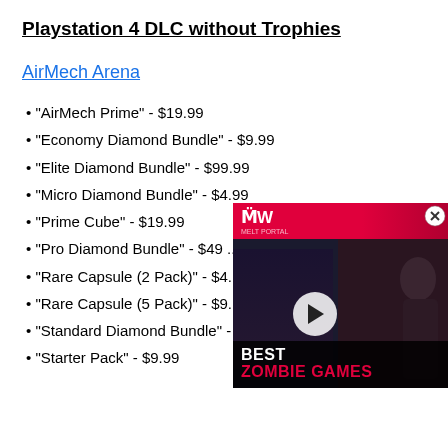Playstation 4 DLC without Trophies
AirMech Arena
"AirMech Prime" - $19.99
"Economy Diamond Bundle" - $9.99
"Elite Diamond Bundle" - $99.99
"Micro Diamond Bundle" - $4.99
"Prime Cube" - $19.99
"Pro Diamond Bundle" - $49.99
"Rare Capsule (2 Pack)" - $4.99
"Rare Capsule (5 Pack)" - $9.99
"Standard Diamond Bundle" - $19.99
"Starter Pack" - $9.99
[Figure (screenshot): Video advertisement overlay showing MW logo on red banner, dark background with silhouetted figures, play button in center, text reading BEST ZOMBIE GAMES]